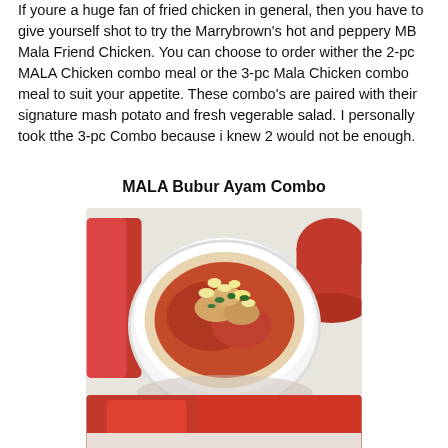If youre a huge fan of fried chicken in general, then you have to give yourself shot to try the Marrybrown's hot and peppery MB Mala Friend Chicken. You can choose to order wither the 2-pc MALA Chicken combo meal or the 3-pc Mala Chicken combo meal to suit your appetite. These combo's are paired with their signature mash potato and fresh vegerable salad. I personally took tthe 3-pc Combo because i knew 2 would not be enough.
MALA Bubur Ayam Combo
[Figure (photo): Top-down photo of a white bowl containing MALA Bubur Ayam (chicken porridge) topped with crispy garlic, herbs, and spicy red sauce. A red cup is partially visible in the top right corner. Marble surface background.]
[Figure (photo): Partial photo at bottom of page showing what appears to be another food item with red packaging/background, cropped.]